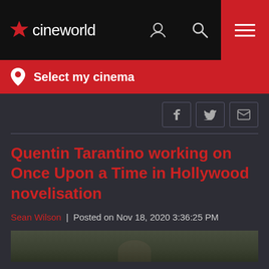cineworld
Select my cinema
Quentin Tarantino working on Once Upon a Time in Hollywood novelisation
Sean Wilson  |  Posted on Nov 18, 2020 3:36:25 PM
[Figure (photo): Partial view of a person, cropped at bottom of visible area, with green foliage background]